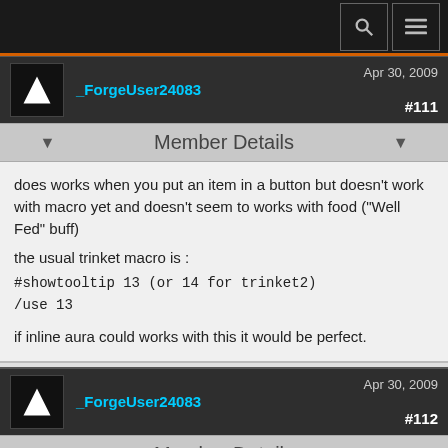Navigation bar with search and menu icons
_ForgeUser24083  Apr 30, 2009  #111
Member Details
does works when you put an item in a button but doesn't work with macro yet and doesn't seem to works with food ("Well Fed" buff)

the usual trinket macro is :
#showtooltip 13 (or 14 for trinket2)
/use 13

if inline aura could works with this it would be perfect.
_ForgeUser24083  Apr 30, 2009  #112
Member Details